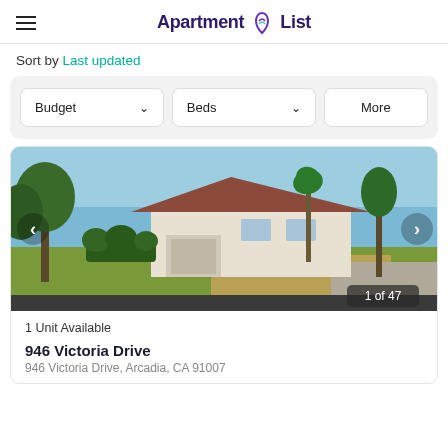Apartment List
Sort by Last updated
Budget   Beds   More
[Figure (photo): Street view photo of a single-story house with trees, lawn, and driveway. Photo counter shows 1 of 47.]
1 Unit Available
946 Victoria Drive
946 Victoria Drive, Arcadia, CA 91007